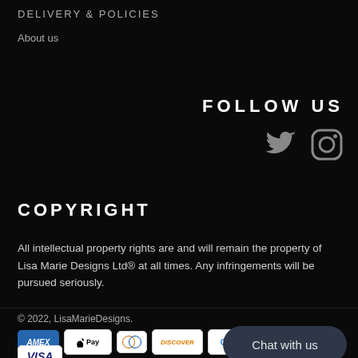DELIVERY & POLICIES
About us
FOLLOW US
[Figure (illustration): Twitter bird icon and Instagram camera icon in grey]
COPYRIGHT
All intellectual property rights are and will remain the property of Lisa Marie Designs Ltd® at all times. Any infringements will be pursued seriously.
© 2022, LisaMarieDesigns.
[Figure (illustration): Payment method icons: Amex, Apple Pay, Diners Club, Discover, Google Pay, Maestro, Visa]
Chat with us